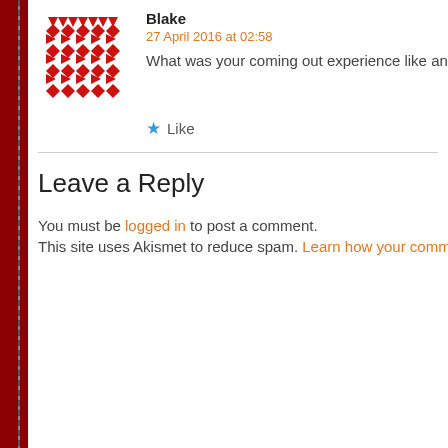[Figure (illustration): Red geometric/diamond pattern avatar for user Blake]
Blake
27 April 2016 at 02:58
What was your coming out experience like and how did yo
★ Like
Leave a Reply
You must be logged in to post a comment.
This site uses Akismet to reduce spam. Learn how your comment da